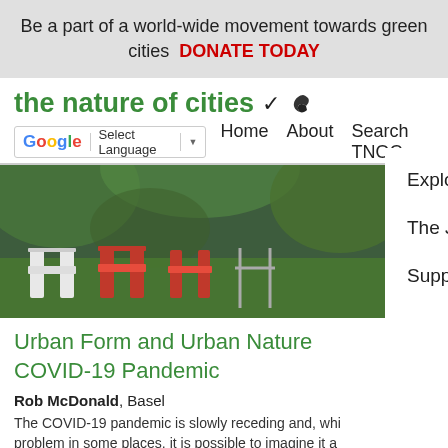Be a part of a world-wide movement towards green cities   DONATE TODAY
the nature of cities 🐦
[Figure (screenshot): Navigation bar with Google Translate widget and nav links: Home, About, Search TNOC, with a dropdown menu showing Explore, Arts, Events, The Just City Essays, Projects, Support TNOC]
[Figure (photo): Outdoor park scene with red and white folding chairs on a green surface, partially visible through a menu overlay]
Urban Form and Urban Nature COVID-19 Pandemic
Rob McDonald, Basel
The COVID-19 pandemic is slowly receding and, while problem in some places, it is possible to imagine it a